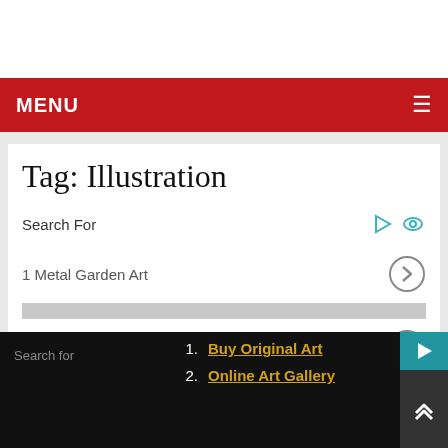MENU
Tag: Illustration
Search For
1 Metal Garden Art
2 Buy Paintings Online
3 Online Art Gallery
1. Buy Original Art
2. Online Art Gallery
Search for